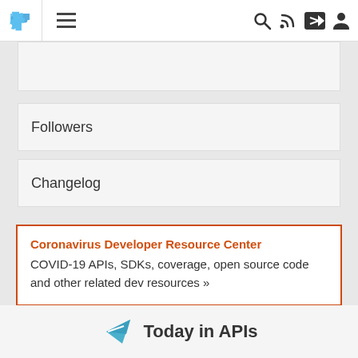Navigation bar with puzzle logo, hamburger menu, search, RSS, share, and user icons
Followers
Changelog
Coronavirus Developer Resource Center
COVID-19 APIs, SDKs, coverage, open source code and other related dev resources »
Today in APIs